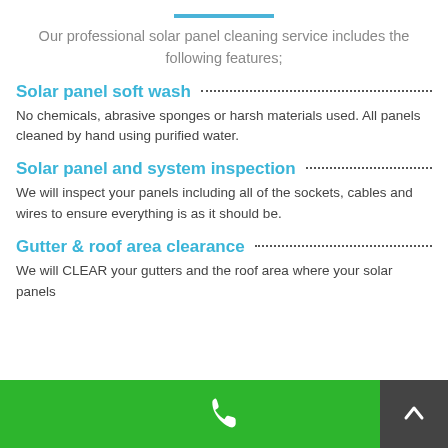Our professional solar panel cleaning service includes the following features;
Solar panel soft wash
No chemicals, abrasive sponges or harsh materials used. All panels cleaned by hand using purified water.
Solar panel and system inspection
We will inspect your panels including all of the sockets, cables and wires to ensure everything is as it should be.
Gutter & roof area clearance
We will CLEAR your gutters and the roof area where your solar panels
Phone icon and up arrow button